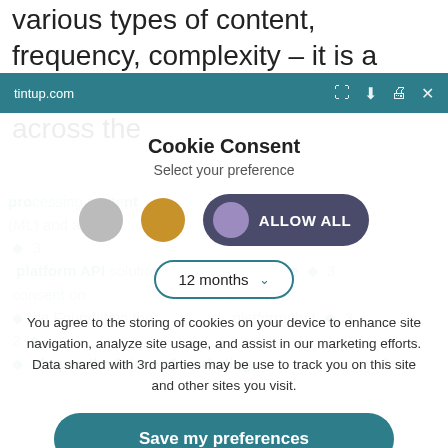various types of content, frequency, complexity – it is a daunting task for marketing teams across the
[Figure (screenshot): Browser toolbar showing tintup.com URL with expand, download, print, and close icons on teal background]
processing content... machine learning (ML) and artific... The power of the platform API solution allows... consent on... communications B2B the Foundation that... platform that shapes the future of marketing
Cookie Consent
Select your preference
[Figure (infographic): Three circles (gray, gold, purple) with ALLOW ALL button in dark purple pill shape]
[Figure (infographic): Dropdown selector showing 12 months with teal down arrow]
You agree to the storing of cookies on your device to enhance site navigation, analyze site usage, and assist in our marketing efforts. Data shared with 3rd parties may be use to track you on this site and other sites you visit.
[Figure (infographic): Save my preferences button in teal rounded rectangle]
Settings   Privacy policy